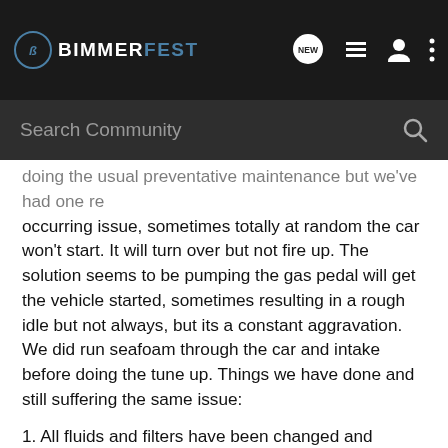BIMMERFEST
doing the usual preventative maintenance but we've had one re occurring issue, sometimes totally at random the car won't start. It will turn over but not fire up. The solution seems to be pumping the gas pedal will get the vehicle started, sometimes resulting in a rough idle but not always, but its a constant aggravation. We did run seafoam through the car and intake before doing the tune up. Things we have done and still suffering the same issue:
1. All fluids and filters have been changed and flushed (trans fluid and filter, front and rear diff, brake fluid, air and cabin filters)
2. MAF has been cleaned, not replaced though.
3. Spark plugs (single prong NGK)
4. The usual cooling system overhaul (exp tank, thermostat, coolant, water pump)